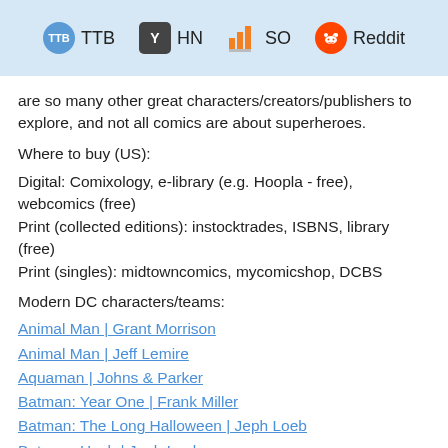TTB  HN  SO  Reddit
are so many other great characters/creators/publishers to explore, and not all comics are about superheroes.
Where to buy (US):
Digital: Comixology, e-library (e.g. Hoopla - free), webcomics (free)
Print (collected editions): instocktrades, ISBNS, library (free)
Print (singles): midtowncomics, mycomicshop, DCBS
Modern DC characters/teams:
Animal Man | Grant Morrison
Animal Man | Jeff Lemire
Aquaman | Johns & Parker
Batman: Year One | Frank Miller
Batman: The Long Halloween | Jeph Loeb
Batman: Hush | Jeph Loeb